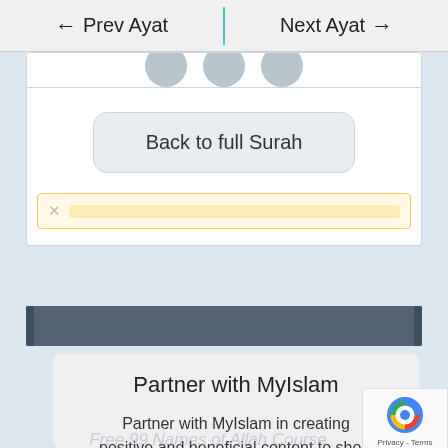← Prev Ayat  |  Next Ayat →
[Figure (screenshot): Partial circular navigation dots row at top of white card]
Back to full Surah
[Figure (screenshot): Notification/alert bar with close X button and yellow highlighted content area]
[Figure (screenshot): Dark blue-grey horizontal section bar]
Partner with MyIslam
Partner with MyIslam in creating positive and beneficial content to show the world the beautiful lessons in our
Free 99 Names of Allah Course